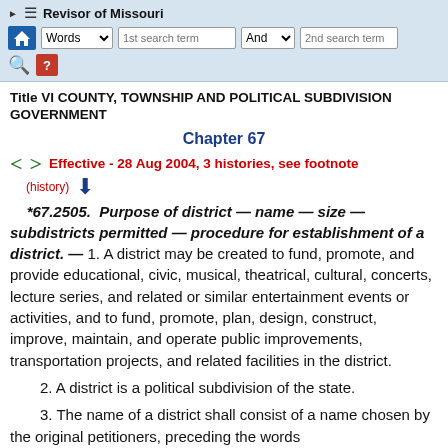Revisor of Missouri
Title VI COUNTY, TOWNSHIP AND POLITICAL SUBDIVISION GOVERNMENT
Chapter 67
Effective - 28 Aug 2004, 3 histories, see footnote (history)
*67.2505. Purpose of district — name — size — subdistricts permitted — procedure for establishment of a district. — 1. A district may be created to fund, promote, and provide educational, civic, musical, theatrical, cultural, concerts, lecture series, and related or similar entertainment events or activities, and to fund, promote, plan, design, construct, improve, maintain, and operate public improvements, transportation projects, and related facilities in the district.
2. A district is a political subdivision of the state.
3. The name of a district shall consist of a name chosen by the original petitioners, preceding the words